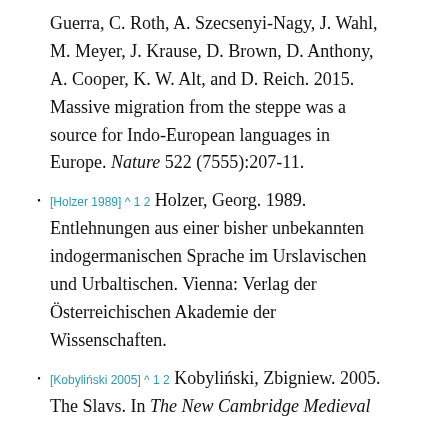Guerra, C. Roth, A. Szecsenyi-Nagy, J. Wahl, M. Meyer, J. Krause, D. Brown, D. Anthony, A. Cooper, K. W. Alt, and D. Reich. 2015. Massive migration from the steppe was a source for Indo-European languages in Europe. Nature 522 (7555):207-11.
[Holzer 1989] ^ 1 2 Holzer, Georg. 1989. Entlehnungen aus einer bisher unbekannten indogermanischen Sprache im Urslavischen und Urbaltischen. Vienna: Verlag der Österreichischen Akademie der Wissenschaften.
[Kobyliński 2005] ^ 1 2 Kobyliński, Zbigniew. 2005. The Slavs. In The New Cambridge Medieval